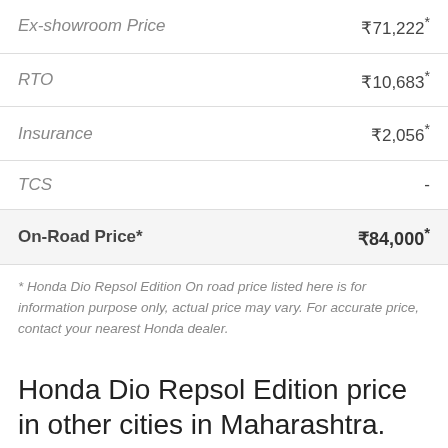|  |  |
| --- | --- |
| Ex-showroom Price | ₹71,222* |
| RTO | ₹10,683* |
| Insurance | ₹2,056* |
| TCS | - |
| On-Road Price* | ₹84,000* |
* Honda Dio Repsol Edition On road price listed here is for information purpose only, actual price may vary. For accurate price, contact your nearest Honda dealer.
Honda Dio Repsol Edition price in other cities in Maharashtra.